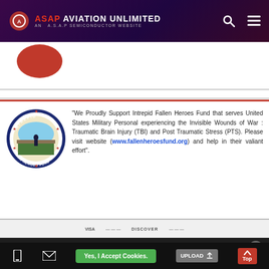ASAP AVIATION UNLIMITED — AN A.S.A.P SEMICONDUCTOR WEBSITE
[Figure (logo): Intrepid Fallen Heroes Fund circular logo with blue border and figure silhouette]
“We Proudly Support Intrepid Fallen Heroes Fund that serves United States Military Personal experiencing the Invisible Wounds of War : Traumatic Brain Injury (TBI) and Post Traumatic Stress (PTS). Please visit website (www.fallenheroesfund.org) and help in their valiant effort”.
We use cookies to ensure that we give you the best experience on our website. If you continue to use this site we will assume that you are happy with it.
Yes, I Accept Cookies. | UPLOAD | Top